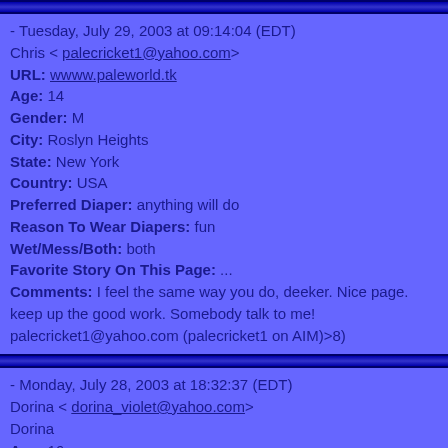- Tuesday, July 29, 2003 at 09:14:04 (EDT)
Chris < palecricket1@yahoo.com>
URL: wwww.paleworld.tk
Age: 14
Gender: M
City: Roslyn Heights
State: New York
Country: USA
Preferred Diaper: anything will do
Reason To Wear Diapers: fun
Wet/Mess/Both: both
Favorite Story On This Page: ...
Comments: I feel the same way you do, deeker. Nice page. keep up the good work. Somebody talk to me! palecricket1@yahoo.com (palecricket1 on AIM)>8)
- Monday, July 28, 2003 at 18:32:37 (EDT)
Dorina < dorina_violet@yahoo.com>
Dorina
Age: 16
Gender: F